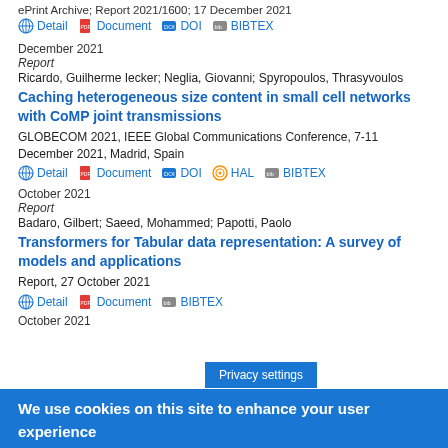ePrint Archive; Report 2021/1600; 17 December 2021
Detail   Document   DOI   BIBTEX
December 2021
Report
Ricardo, Guilherme Iecker; Neglia, Giovanni; Spyropoulos, Thrasyvoulos
Caching heterogeneous size content in small cell networks with CoMP joint transmissions
GLOBECOM 2021, IEEE Global Communications Conference, 7-11 December 2021, Madrid, Spain
Detail   Document   DOI   HAL   BIBTEX
October 2021
Report
Badaro, Gilbert; Saeed, Mohammed; Papotti, Paolo
Transformers for Tabular data representation: A survey of models and applications
Report, 27 October 2021
Detail   Document   BIBTEX
October 2021
We use cookies on this site to enhance your user experience